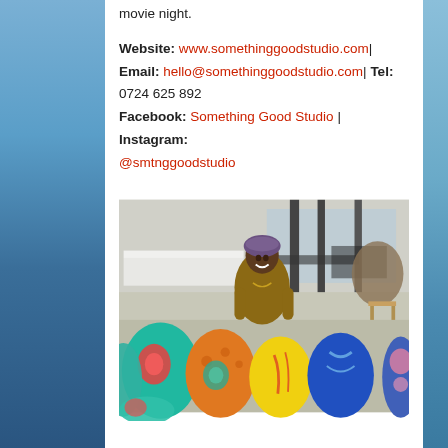movie night.
Website: www.somethinggoodstudio.com|
Email: hello@somethinggoodstudio.com| Tel: 0724 625 892
Facebook: Something Good Studio | Instagram: @smtnggoodstudio
[Figure (photo): A smiling woman standing behind a display of colorful patterned cushions/pillows in what appears to be an indoor market or studio space. She is wearing a brown top and a head wrap.]